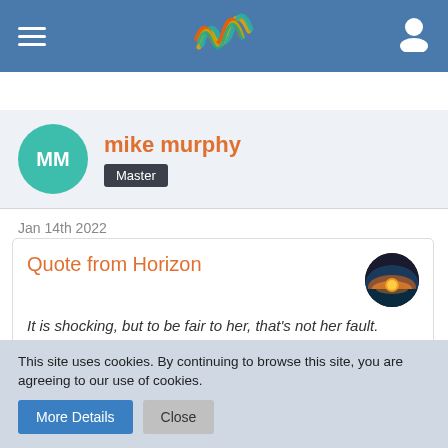Navigation bar with hamburger menu, logo, and user icon
mike murphy
Master
Jan 14th 2022
Quote from Horizon
It is shocking, but to be fair to her, that's not her fault. There is a specfic problem with addiction in some parts of the country and places like Glasgow hae always been particulary bad for this sort of thing, long before Salmond or Sturgeon were on the...
This site uses cookies. By continuing to browse this site, you are agreeing to our use of cookies.